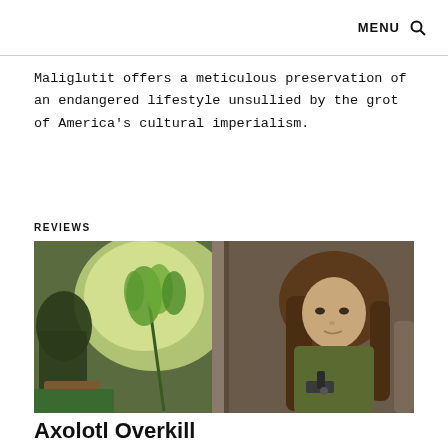MENU 🔍
Maliglutit offers a meticulous preservation of an endangered lifestyle unsullied by the grot of America's cultural imperialism.
REVIEWS
[Figure (photo): A woman with long brown hair holds a small gun near a window, with green plants visible in the background. The scene is dimly lit with natural light coming through the window.]
Axolotl Overkill